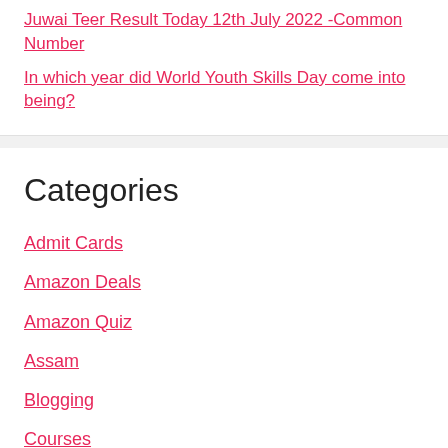Juwai Teer Result Today 12th July 2022 -Common Number
In which year did World Youth Skills Day come into being?
Categories
Admit Cards
Amazon Deals
Amazon Quiz
Assam
Blogging
Courses
Entertainment